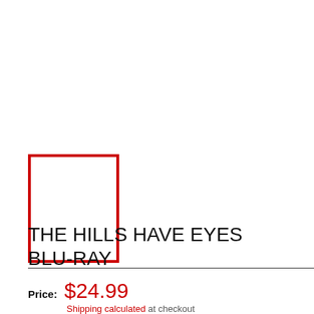[Figure (other): Red-bordered white rectangle placeholder image for product]
THE HILLS HAVE EYES BLU-RAY
Price: $24.99
Shipping calculated at checkout